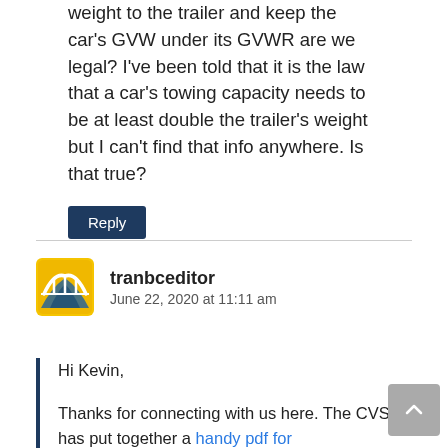weight to the trailer and keep the car's GVW under its GVWR are we legal? I've been told that it is the law that a car's towing capacity needs to be at least double the trailer's weight but I can't find that info anywhere. Is that true?
Reply
tranbceditor
June 22, 2020 at 11:11 am
Hi Kevin,

Thanks for connecting with us here. The CVSE has put together a handy pdf for